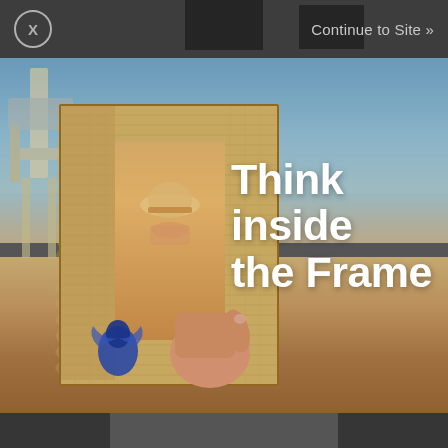[Figure (screenshot): Advertisement overlay on a website. Top dark bar with an X close button on the left and 'Continue to Site »' text on the right. Main image shows a beach scene with a hand holding a rustic burlap photo frame containing a child wearing a hat. Bold white text reads 'Think inside the Frame'. Dark bars at top and bottom simulate a mobile interstitial ad.]
Continue to Site »
Think inside the Frame